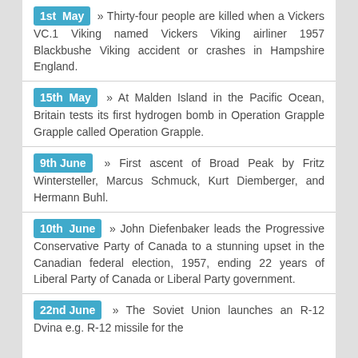1st May » Thirty-four people are killed when a Vickers VC.1 Viking named Vickers Viking airliner 1957 Blackbushe Viking accident or crashes in Hampshire England.
15th May » At Malden Island in the Pacific Ocean, Britain tests its first hydrogen bomb in Operation Grapple Grapple called Operation Grapple.
9th June » First ascent of Broad Peak by Fritz Wintersteller, Marcus Schmuck, Kurt Diemberger, and Hermann Buhl.
10th June » John Diefenbaker leads the Progressive Conservative Party of Canada to a stunning upset in the Canadian federal election, 1957, ending 22 years of Liberal Party of Canada or Liberal Party government.
22nd June » The Soviet Union launches an R-12 Dvina e.g. R-12 missile for the